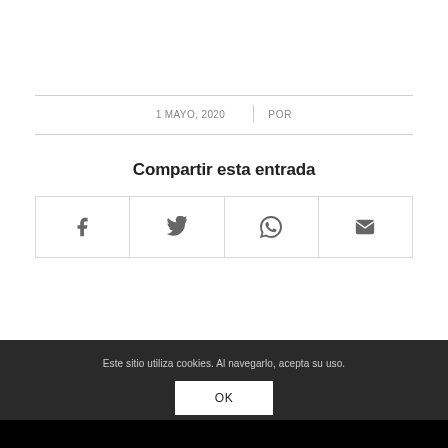1 MAYO, 2020 | POR
Compartir esta entrada
[Figure (other): Four social share icon buttons: Facebook (f), Twitter (bird), WhatsApp (phone), Email (envelope)]
Este sitio utiliza cookies. Al navegarlo, acepta su uso.
OK